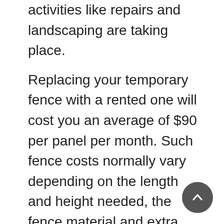activities like repairs and landscaping are taking place.
Replacing your temporary fence with a rented one will cost you an average of $90 per panel per month. Such fence costs normally vary depending on the length and height needed, the fence material and extra equipment like stakes and support posts.
Electric Fence Repair Cost Vs Replacement Cost
An electric fence repair costs an average of $275 to complete. Wiring issues are the most